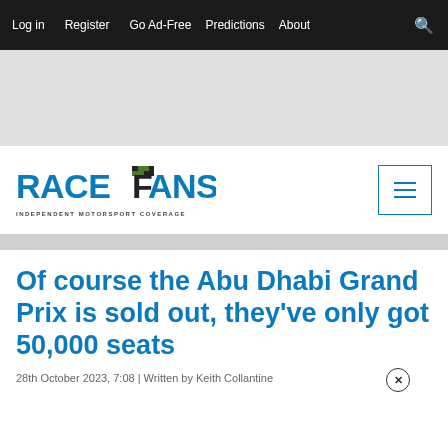Log in   Register   Go Ad-Free   Predictions   About
[Figure (other): Gray advertisement banner placeholder]
[Figure (logo): RaceFans - Independent Motorsport Coverage logo with hamburger menu button]
Of course the Abu Dhabi Grand Prix is sold out, they've only got 50,000 seats
28th October 2023, 7:08 | Written by Keith Collantine